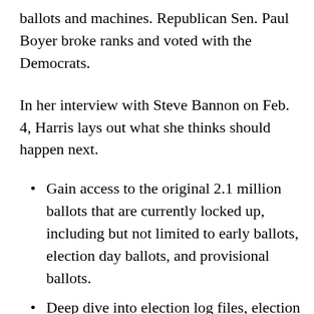ballots and machines. Republican Sen. Paul Boyer broke ranks and voted with the Democrats.
In her interview with Steve Bannon on Feb. 4, Harris lays out what she thinks should happen next.
Gain access to the original 2.1 million ballots that are currently locked up, including but not limited to early ballots, election day ballots, and provisional ballots.
Deep dive into election log files, election settings, accounts and tokens, windows servers and desktops, Dominion Voting